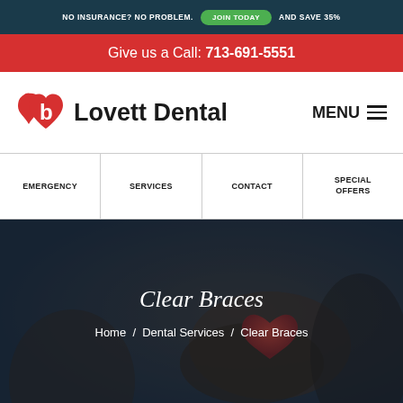NO INSURANCE? NO PROBLEM. JOIN TODAY AND SAVE 35%
Give us a Call: 713-691-5551
[Figure (logo): Lovett Dental logo with stylized red heart-B icon and bold black text]
MENU
EMERGENCY
SERVICES
CONTACT
SPECIAL OFFERS
[Figure (photo): Dark moody background photo of hands holding a red heart shape]
Clear Braces
Home / Dental Services / Clear Braces